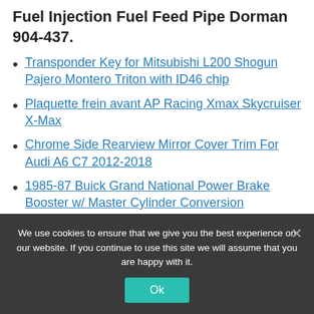Fuel Injection Fuel Feed Pipe Dorman 904-437.
Transponder Key for Mitsubishi L200 Shogun Pajero Montero Triton with ID46 chip
Plaquette frein avant AP Racing Xmax Skycruiser X-Max
Chrome Side Rearview Mirror Cover Trim For Audi A6 C7 2012-2018
1985-87 Buick Grand National Power Brake Booster w/ Master Cylinder Conversion
We use cookies to ensure that we give you the best experience on our website. If you continue to use this site we will assume that you are happy with it.